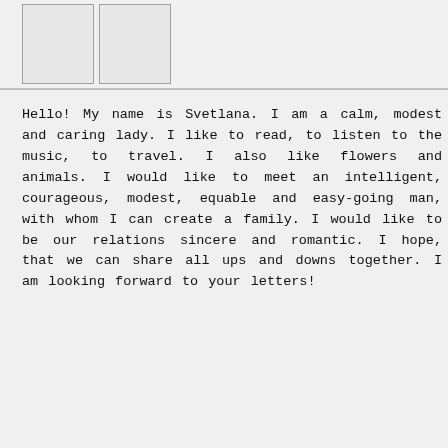[Figure (photo): Two image placeholders side by side in a grid layout at the top of the page]
Hello! My name is Svetlana. I am a calm, modest and caring lady. I like to read, to listen to the music, to travel. I also like flowers and animals. I would like to meet an intelligent, courageous, modest, equable and easy-going man, with whom I can create a family. I would like to be our relations sincere and romantic. I hope, that we can share all ups and downs together. I am looking forward to your letters!